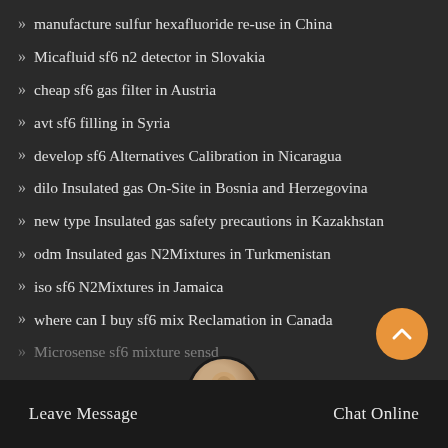manufacture sulfur hexafluoride re-use in China
Micafluid sf6 n2 detector in Slovakia
cheap sf6 gas filter in Austria
avt sf6 filling in Syria
develop sf6 Alternatives Calibration in Nicaragua
dilo Insulated gas On-Site in Bosnia and Herzegovina
new type Insulated gas safety precautions in Kazakhstan
odm Insulated gas N2Mixtures in Turkmenistan
iso sf6 N2Mixtures in Jamaica
where can I buy sf6 mix Reclamation in Canada
Microsense sf6 mixture sens...d
Leave Message   Chat Online